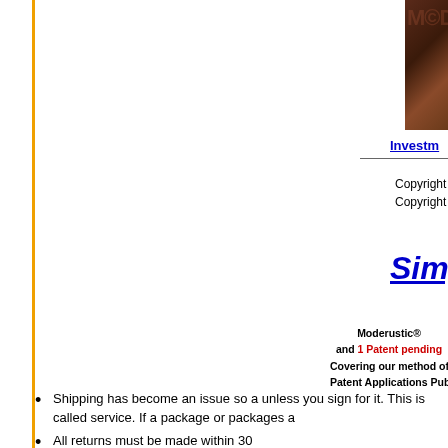[Figure (photo): Dark brownish-red photo strip showing partial text/logo top right corner]
Investm
Copyright 2003
Copyright 2003 -
Simp
Moderustic®
and 1 Patent pending
Covering our method of o
Patent Applications Published 2005, 20
Shipping has become an issue so a unless you sign for it. This is called service. If a package or packages a
All returns must be made within 30